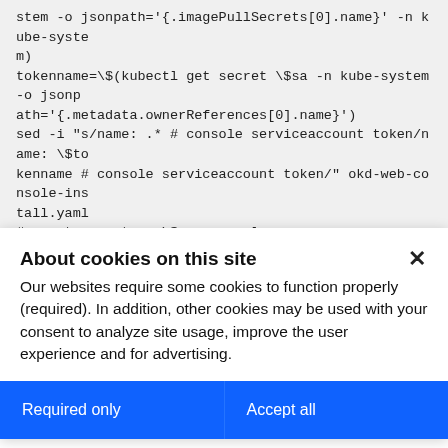stem -o jsonpath='{.imagePullSecrets[0].name}' -n kube-system)
tokenname=\$(kubectl get secret \$sa -n kube-system -o jsonpath='{.metadata.ownerReferences[0].name}')
sed -i "s/name: .* # console serviceaccount token/name: \$tokenname # console serviceaccount token/" okd-web-console-install.yaml
#oc get secret -n \$sa -o yaml
kubectl create -f okd-web-console-install.yaml
sleep 2
oc expose svc console-np-service -n kube-system
About cookies on this site
Our websites require some cookies to function properly (required). In addition, other cookies may be used with your consent to analyze site usage, improve the user experience and for advertising.
For more information, please review your Cookie preferences options and IBM's privacy statement.
Required only
Accept all